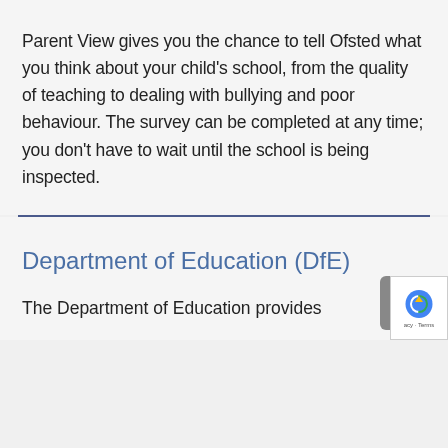Parent View gives you the chance to tell Ofsted what you think about your child's school, from the quality of teaching to dealing with bullying and poor behaviour. The survey can be completed at any time; you don't have to wait until the school is being inspected.
Department of Education (DfE)
The Department of Education provides